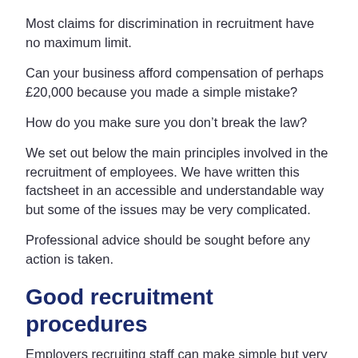Most claims for discrimination in recruitment have no maximum limit.
Can your business afford compensation of perhaps £20,000 because you made a simple mistake?
How do you make sure you don’t break the law?
We set out below the main principles involved in the recruitment of employees. We have written this factsheet in an accessible and understandable way but some of the issues may be very complicated.
Professional advice should be sought before any action is taken.
Good recruitment procedures
Employers recruiting staff can make simple but very expensive mistakes in all sorts of ways when